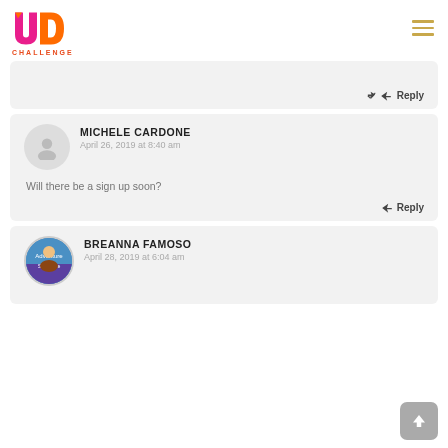[Figure (logo): UD Challenge logo with pink/orange U and D letters and orange CHALLENGE text below]
[Figure (other): Hamburger menu icon with three horizontal golden lines]
↩ Reply
MICHELE CARDONE
April 26, 2019 at 8:40 am
Will there be a sign up soon?
↩ Reply
BREANNA FAMOSO
April 28, 2019 at 6:04 am